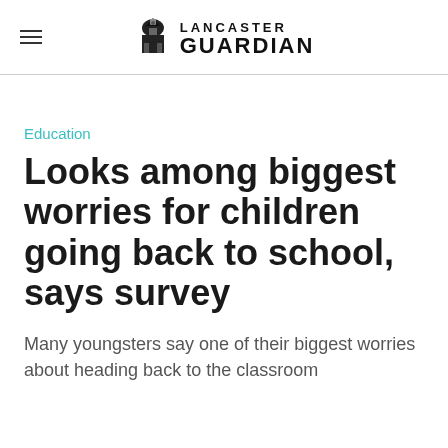Lancaster Guardian
Education
Looks among biggest worries for children going back to school, says survey
Many youngsters say one of their biggest worries about heading back to the classroom